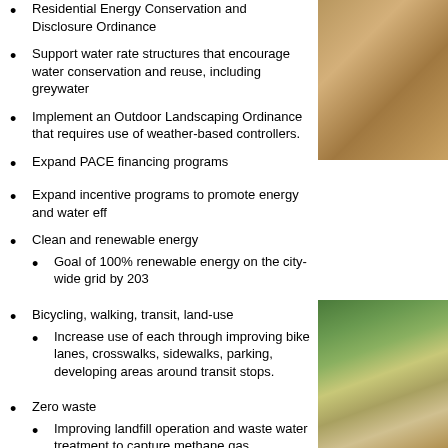Residential Energy Conservation and Disclosure Ordinance
Support water rate structures that encourage water conservation and reuse, including greywater
[Figure (photo): Photo of insulation or building material, warm tan/orange tones]
Implement an Outdoor Landscaping Ordinance that requires use of weather-based controllers.
Expand PACE financing programs
Expand incentive programs to promote energy and water eff...
Clean and renewable energy
Goal of 100% renewable energy on the city-wide grid by 203...
Bicycling, walking, transit, land-use
Increase use of each through improving bike lanes, crosswalks, sidewalks, parking, developing areas around transit stops.
[Figure (photo): Photo of urban streetscape with palm trees and city infrastructure]
Zero waste
Improving landfill operation and waste water treatment to capture methane gas